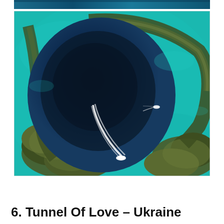[Figure (photo): Aerial photograph of a large dark blue circular underwater sinkhole (blue hole) surrounded by shallow turquoise reef water. A motorboat with a white wake trail is visible in the lower portion of the blue hole, with rocky/coral outcrops visible around the perimeter.]
6. Tunnel Of Love – Ukraine